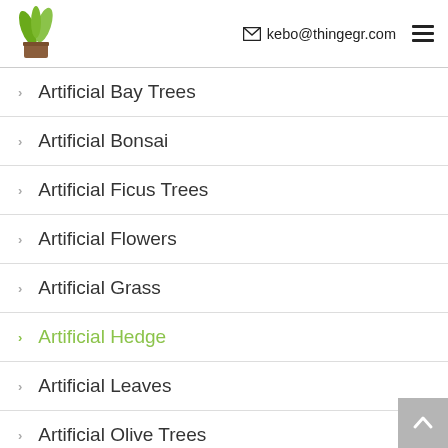kebo@thingegr.com
Artificial Bay Trees
Artificial Bonsai
Artificial Ficus Trees
Artificial Flowers
Artificial Grass
Artificial Hedge
Artificial Leaves
Artificial Olive Trees